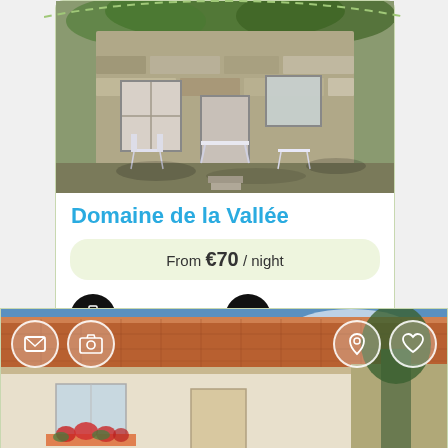[Figure (photo): Stone farmhouse exterior with white garden furniture including chairs and table on a shaded terrace]
Domaine de la Vallée
From €70 / night
View Photos
Contact
[Figure (photo): Alsatian farmhouse exterior with terracotta tile roof, window boxes with red flowers, blue sky background. Overlay icons: mail, camera, location pin, heart.]